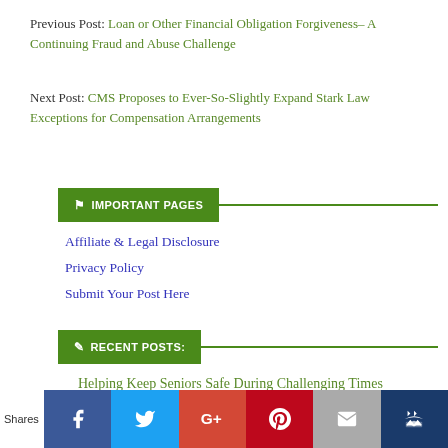Previous Post: Loan or Other Financial Obligation Forgiveness– A Continuing Fraud and Abuse Challenge
Next Post: CMS Proposes to Ever-So-Slightly Expand Stark Law Exceptions for Compensation Arrangements
IMPORTANT PAGES
Affiliate & Legal Disclosure
Privacy Policy
Submit Your Post Here
RECENT POSTS:
Helping Keep Seniors Safe During Challenging Times
Shares